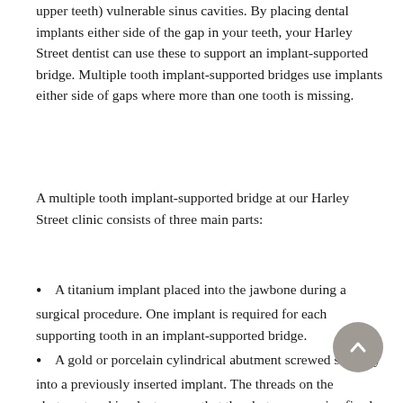upper teeth) vulnerable sinus cavities. By placing dental implants either side of the gap in your teeth, your Harley Street dentist can use these to support an implant-supported bridge. Multiple tooth implant-supported bridges use implants either side of gaps where more than one tooth is missing.
A multiple tooth implant-supported bridge at our Harley Street clinic consists of three main parts:
A titanium implant placed into the jawbone during a surgical procedure. One implant is required for each supporting tooth in an implant-supported bridge.
A gold or porcelain cylindrical abutment screwed securely into a previously inserted implant. The threads on the abutment and implant ensure that the abutment remains firmly fixed in place.
A restoration, which is firmly attached to a metal substructure and looks like a row of teeth but is actually a series of connected porcelain crowns.